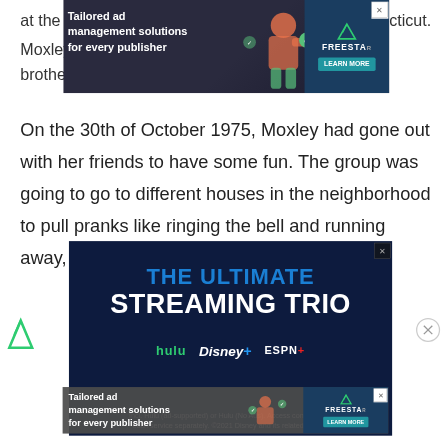at the … cticut. Moxley lived with her parents and a brother.
[Figure (infographic): Top advertisement banner: 'Tailored ad management solutions for every publisher' with Freestar logo and 'Learn More' button on dark background with decorative icons.]
On the 30th of October 1975, Moxley had gone out with her friends to have some fun. The group was going to go to different houses in the neighborhood to pull pranks like ringing the bell and running away, toilet papering houses, etc.
[Figure (infographic): Advertisement for 'The Ultimate Streaming Trio' featuring Hulu, Disney+, and ESPN+ logos on dark navy background. Bottom text: 'Incl. Hulu (ad-supported) or Hulu (No Ads). Access content from each service separately. ©2021 Disney and its related entities']
[Figure (infographic): Bottom overlapping advertisement: 'Tailored ad management solutions for every publisher' with Freestar logo and 'Learn More' button on dark grey semi-transparent background.]